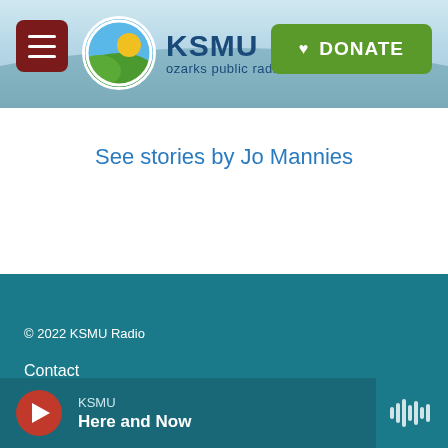[Figure (screenshot): KSMU Ozarks Public Radio website header with hamburger menu, circular logo, KSMU text, and green DONATE button]
See stories by Jo Mannies
© 2022 KSMU Radio
Contact
KSMU
Here and Now